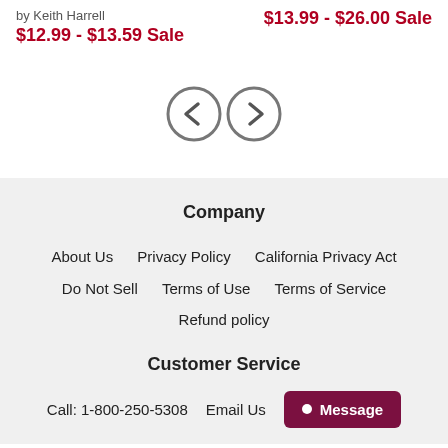by Keith Harrell
$12.99 - $13.59 Sale
$13.99 - $26.00 Sale
[Figure (other): Navigation buttons: left arrow circle and right arrow circle]
Company
About Us
Privacy Policy
California Privacy Act
Do Not Sell
Terms of Use
Terms of Service
Refund policy
Customer Service
Call: 1-800-250-5308
Email Us
Message